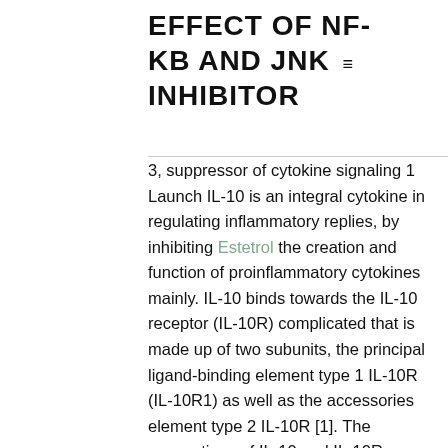EFFECT OF NF-KB AND JNK INHIBITOR
3, suppressor of cytokine signaling 1 Launch IL-10 is an integral cytokine in regulating inflammatory replies, by inhibiting Estetrol the creation and function of proinflammatory cytokines mainly. IL-10 binds towards the IL-10 receptor (IL-10R) complicated that is made up of two subunits, the principal ligand-binding element type 1 IL-10R (IL-10R1) as well as the accessories element type 2 IL-10R [1]. The connections of IL-10 and IL-10R engages the Janus kinase (JAK) family members tyrosine kinases Jak1 and Tyk2, that are connected with IL-10R1 and type Estetrol & IL-10R constitutively. [2]